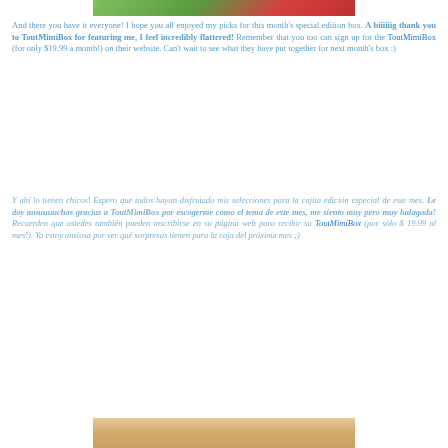[Figure (photo): Top portion of a photo, cropped, showing green leaves and a red element]
And there you have it everyone! I hope you all enjoyed my picks for this month's special edition box. A biiiiiig thank you to ToutMimiBox for featuring me, I feel incredibly flattered! Remember that you too can sign up for the ToutMimiBox (for only $19.99 a month!) on their website.  Can't wait to see what they have put together for next month's box :)
Y ahí lo tienen chicos! Espero que todos hayan disfrutado mis selecciones para la cajita edición especial de este mes. Le doy muuuuuchas gracias a ToutMimiBox por escogerme como el tema de este mes, me siento muy pero muy halagada! Recuerden que ustedes también pueden inscribirse en su página web para recibir su ToutMimiBox (por sólo $ 19.99 al mes!). Ya estoy ansiosa por ver qué sorpresas tienen para la caja del próxima mes ;)
[Figure (photo): Bottom portion of a photo showing a light-toned background, cropped at bottom]